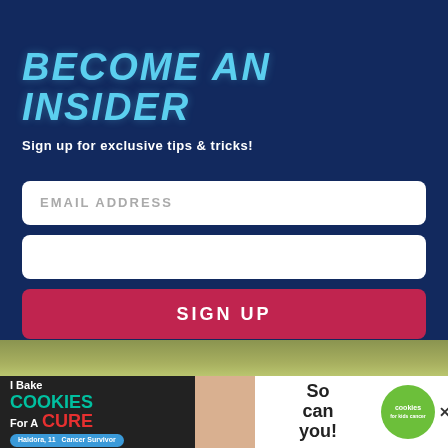BECOME AN INSIDER
Sign up for exclusive tips & tricks!
[Figure (screenshot): Email address input field (empty text input, white, rounded corners)]
[Figure (screenshot): Second input field (empty, white, rounded corners)]
[Figure (screenshot): SIGN UP button (red/crimson, rounded corners)]
[Figure (photo): Background photo showing a green upholstered ottoman or stool on a wooden floor]
[Figure (screenshot): Advertisement banner: I Bake COOKIES For A CURE - Haidora, 11 Cancer Survivor - So can you! - cookies for kids cancer logo]